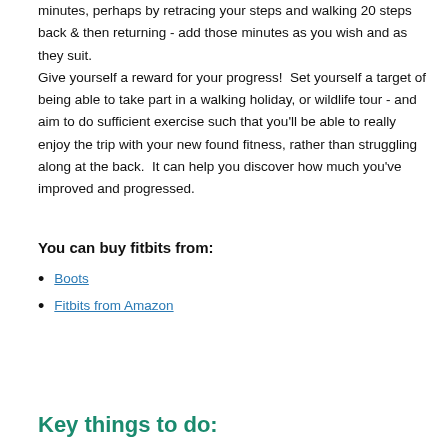minutes, perhaps by retracing your steps and walking 20 steps back & then returning - add those minutes as you wish and as they suit. Give yourself a reward for your progress!  Set yourself a target of being able to take part in a walking holiday, or wildlife tour - and aim to do sufficient exercise such that you'll be able to really enjoy the trip with your new found fitness, rather than struggling along at the back.  It can help you discover how much you've improved and progressed.
You can buy fitbits from:
Boots
Fitbits from Amazon
Key things to do: